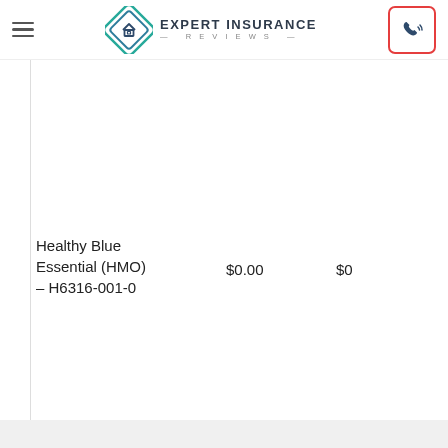Expert Insurance Reviews
| Plan | Premium | Deductible |
| --- | --- | --- |
| Healthy Blue Essential (HMO) – H6316-001-0 | $0.00 | $0 |